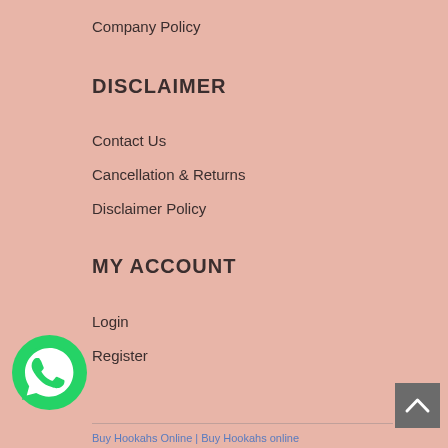Company Policy
DISCLAIMER
Contact Us
Cancellation & Returns
Disclaimer Policy
MY ACCOUNT
Login
Register
[Figure (logo): WhatsApp green circular button with phone icon]
[Figure (other): Gray scroll-to-top button with upward chevron]
Buy Hookahs Online | Buy Hookahs online